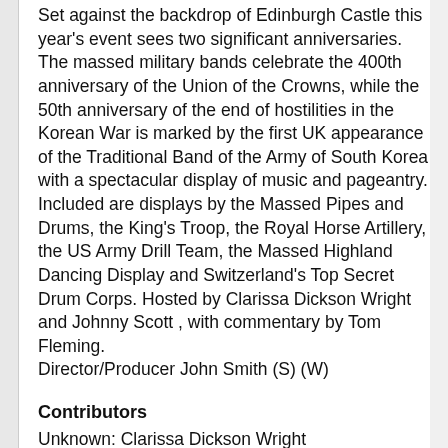Set against the backdrop of Edinburgh Castle this year's event sees two significant anniversaries. The massed military bands celebrate the 400th anniversary of the Union of the Crowns, while the 50th anniversary of the end of hostilities in the Korean War is marked by the first UK appearance of the Traditional Band of the Army of South Korea with a spectacular display of music and pageantry. Included are displays by the Massed Pipes and Drums, the King's Troop, the Royal Horse Artillery, the US Army Drill Team, the Massed Highland Dancing Display and Switzerland's Top Secret Drum Corps. Hosted by Clarissa Dickson Wright and Johnny Scott , with commentary by Tom Fleming. Director/Producer John Smith (S) (W)
Contributors
Unknown:  Clarissa Dickson Wright
Unknown:  Johnny Scott